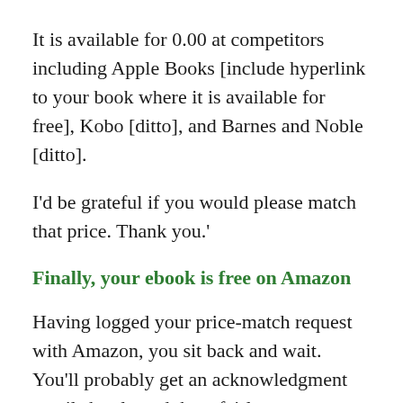It is available for 0.00 at competitors including Apple Books [include hyperlink to your book where it is available for free], Kobo [ditto], and Barnes and Noble [ditto].
I'd be grateful if you would please match that price. Thank you.'
Finally, your ebook is free on Amazon
Having logged your price-match request with Amazon, you sit back and wait. You'll probably get an acknowledgment email shortly and then, fairly soon, an email from Customer Support telling you that they have price-matched your book successfully. Here's my book listing on Amazon, now showing as available for free.